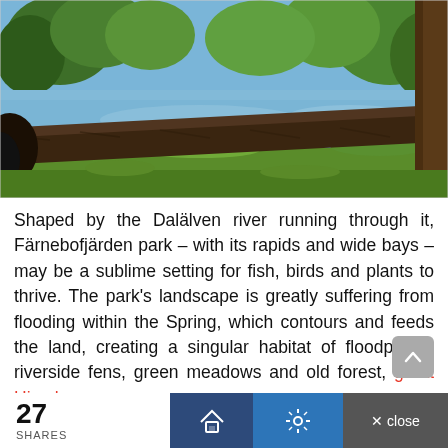[Figure (photo): Nature photo showing a fallen log/tree trunk across a riverbank with lush green trees and a calm blue river visible in the background. Sunny day with bright green foliage.]
Shaped by the Dalälven river running through it, Färnebofjärden park – with its rapids and wide bays – may be a sublime setting for fish, birds and plants to thrive. The park's landscape is greatly suffering from flooding within the Spring, which contours and feeds the land, creating a singular habitat of floodplains, riverside fens, green meadows and old forest, great Himalayas
Over 205 bird species live within Färnebofjärden –
27 SHARES  🏠  ✦  × close